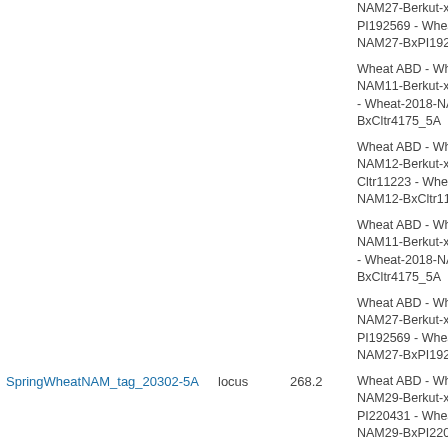| Name | Type | Score | Ontology/Description |
| --- | --- | --- | --- |
|  |  |  | NAM27-Berkut-x-PI192569 - Wheat-2018-NAM27-BxPI192569 |
|  |  |  | Wheat ABD - Wheat-NAM11-Berkut-x-Cltr - Wheat-2018-NAM11-BxCltr4175_5A |
|  |  |  | Wheat ABD - Wheat-NAM12-Berkut-x-Cltr11223 - Wheat-2018-NAM12-BxCltr11223 |
|  |  |  | Wheat ABD - Wheat-NAM11-Berkut-x-Cltr - Wheat-2018-NAM11-BxCltr4175_5A |
|  |  |  | Wheat ABD - Wheat-NAM27-Berkut-x-PI192569 - Wheat-2018-NAM27-BxPI192569 |
| SpringWheatNAM_tag_20302-5A | locus | 268.2 | Wheat ABD - Wheat-NAM29-Berkut-x-PI220431 - Wheat-2018-NAM29-BxPI220431 |
|  |  |  | Wheat ABD - Wheat-NAM24-Berkut-x-PI192147 - Wheat-2018-NAM24-BxPI192147 |